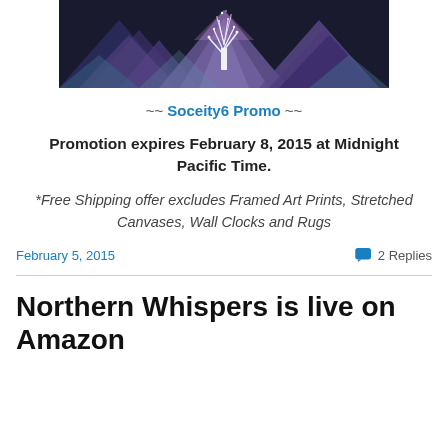[Figure (illustration): Decorative banner image with geometric purple/blue triangles and a white tree silhouette]
~~ Soceity6 Promo ~~
Promotion expires February 8, 2015 at Midnight Pacific Time.
*Free Shipping offer excludes Framed Art Prints, Stretched Canvases, Wall Clocks and Rugs
February 5, 2015
2 Replies
Northern Whispers is live on Amazon